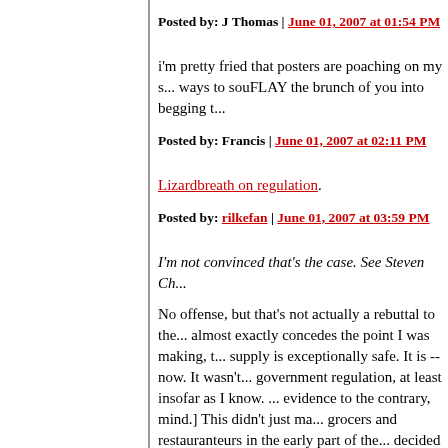Posted by: J Thomas | June 01, 2007 at 01:54 PM
i'm pretty fried that posters are poaching on my s... ways to souFLAY the brunch of you into begging t...
Posted by: Francis | June 01, 2007 at 02:11 PM
Lizardbreath on regulation.
Posted by: rilkefan | June 01, 2007 at 03:59 PM
I'm not convinced that's the case. See Steven Ch...
No offense, but that's not actually a rebuttal to the... almost exactly concedes the point I was making, t... supply is exceptionally safe. It is -- now. It wasn't... government regulation, at least insofar as I know. ... evidence to the contrary, mind.] This didn't just ma... grocers and restauranteurs in the early part of the... decided to have clean kitchens and refrigerated m... same as, today, some do and some don't (albeit t... questioning -- or asserting, at this point, to make t...